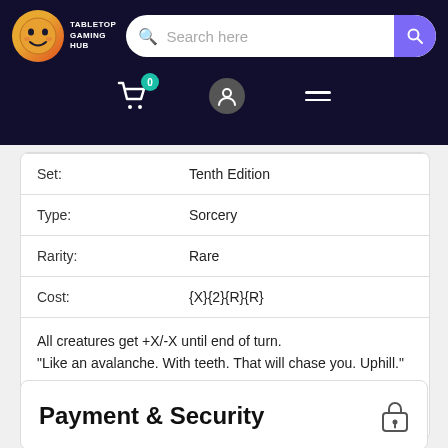Tabletop Gaming Hub — Search header with cart, user, and menu icons
| Field | Value |
| --- | --- |
| Set: | Tenth Edition |
| Type: | Sorcery |
| Rarity: | Rare |
| Cost: | {X}{2}{R}{R} |
All creatures get +X/-X until end of turn.
"Like an avalanche. With teeth. That will chase you. Uphill." — Flint Foot, viashino runner
Payment & Security